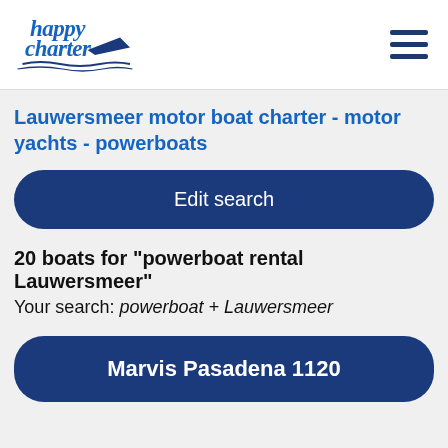[Figure (logo): Happy Charter logo with stylized italic text and a boat/wave graphic in blue]
Lauwersmeer motor boat charter - motor yachts - powerboats
Edit search
20 boats for "powerboat rental Lauwersmeer"
Your search: powerboat + Lauwersmeer
Marvis Pasadena 1120